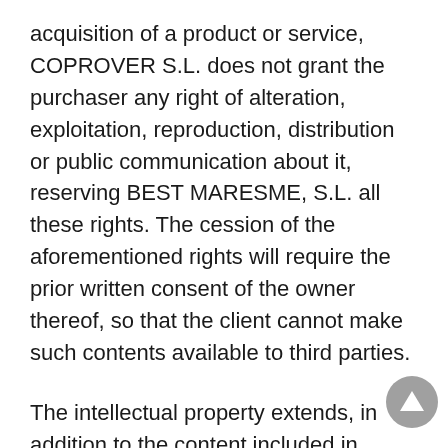acquisition of a product or service, COPROVER S.L. does not grant the purchaser any right of alteration, exploitation, reproduction, distribution or public communication about it, reserving BEST MARESME, S.L. all these rights. The cession of the aforementioned rights will require the prior written consent of the owner thereof, so that the client cannot make such contents available to third parties.
The intellectual property extends, in addition to the content included in BEST MARESME, S.L, to its graphics, logos, designs, images and source codes used for its programming.